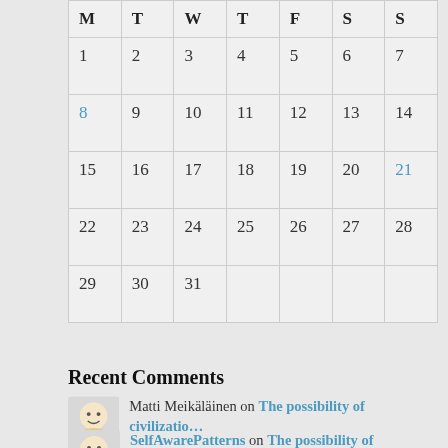| M | T | W | T | F | S | S |
| --- | --- | --- | --- | --- | --- | --- |
| 1 | 2 | 3 | 4 | 5 | 6 | 7 |
| 8 | 9 | 10 | 11 | 12 | 13 | 14 |
| 15 | 16 | 17 | 18 | 19 | 20 | 21 |
| 22 | 23 | 24 | 25 | 26 | 27 | 28 |
| 29 | 30 | 31 |  |  |  |  |
« Jul
Recent Comments
Matti Meikäläinen on The possibility of civilizatio…
SelfAwarePatterns on The possibility of